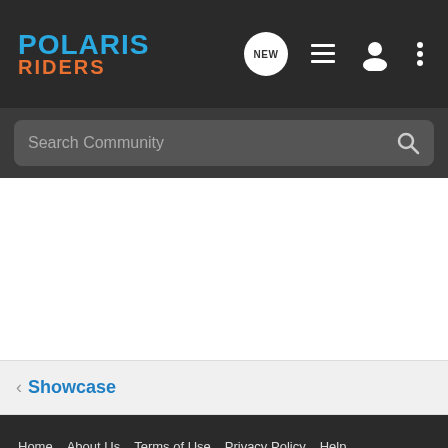POLARIS RIDERS
Search Community
< Showcase
Home  About Us  Terms of Use  Privacy Policy  Help  Business Directory  Contact Us  |